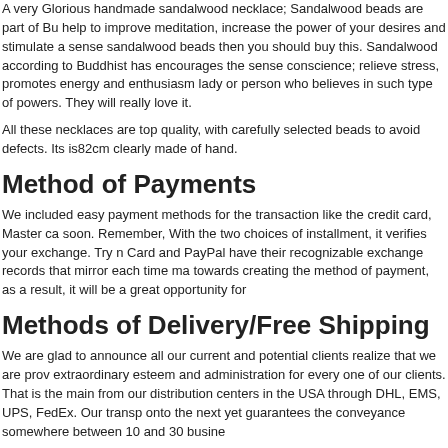A very Glorious handmade sandalwood necklace; Sandalwood beads are part of Bu... help to improve meditation, increase the power of your desires and stimulate a sense sandalwood beads then you should buy this. Sandalwood according to Buddhist has encourages the sense conscience; relieve stress, promotes energy and enthusiasm lady or person who believes in such type of powers. They will really love it.
All these necklaces are top quality, with carefully selected beads to avoid defects. Its is82cm clearly made of hand.
Method of Payments
We included easy payment methods for the transaction like the credit card, Master ca... soon. Remember, With the two choices of installment, it verifies your exchange. Try n Card and PayPal have their recognizable exchange records that mirror each time ma... towards creating the method of payment, as a result, it will be a great opportunity for
Methods of Delivery/Free Shipping
We are glad to announce all our current and potential clients realize that we are prov... extraordinary esteem and administration for every one of our clients. That is the main from our distribution centers in the USA through DHL, EMS, UPS, FedEx. Our transp... onto the next yet guarantees the conveyance somewhere between 10 and 30 busine...
Money Back Guarantee